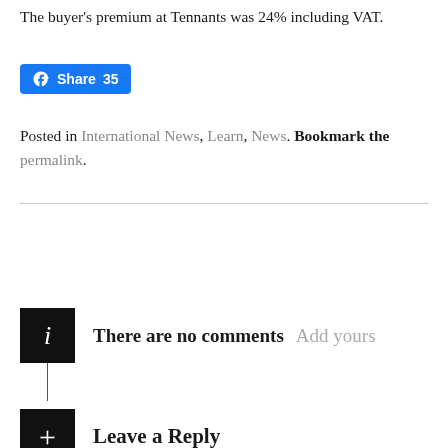The buyer's premium at Tennants was 24% including VAT.
[Figure (other): Facebook Share button showing 'Share 35' with Facebook logo icon]
Posted in International News, Learn, News. Bookmark the permalink.
There are no comments  Add yours
Leave a Reply
Your email address will not be published. Required fields are marked